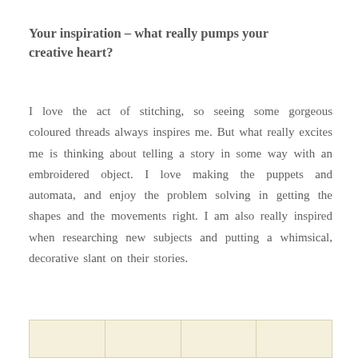Your inspiration – what really pumps your creative heart?
I love the act of stitching, so seeing some gorgeous coloured threads always inspires me. But what really excites me is thinking about telling a story in some way with an embroidered object. I love making the puppets and automata, and enjoy the problem solving in getting the shapes and the movements right. I am also really inspired when researching new subjects and putting a whimsical, decorative slant on their stories.
[Figure (photo): Partial view of a photo strip at the bottom of the page showing warm cream/yellow toned panels.]